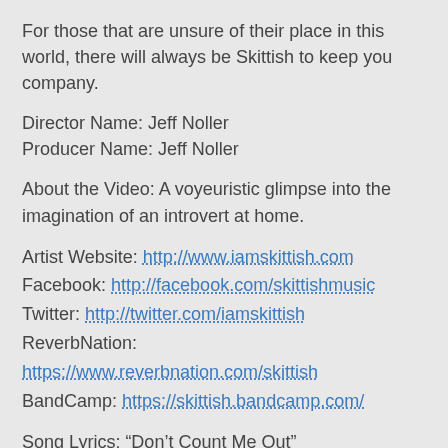For those that are unsure of their place in this world, there will always be Skittish to keep you company.
Director Name: Jeff Noller
Producer Name: Jeff Noller
About the Video: A voyeuristic glimpse into the imagination of an introvert at home.
Artist Website: http://www.iamskittish.com
Facebook: http://facebook.com/skittishmusic
Twitter: http://twitter.com/iamskittish
ReverbNation: https://www.reverbnation.com/skittish
BandCamp: https://skittish.bandcamp.com/
Song Lyrics: “Don’t Count Me Out”
I was swimming
In a room of people I don’t know